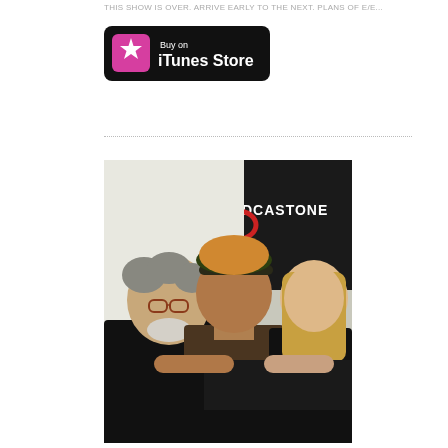THIS SHOW IS OVER. ARRIVE EARLY TO THE NEXT. PLANS OF E/E...
[Figure (logo): Buy on iTunes Store button with pink star icon on black rounded rectangle background]
[Figure (photo): Three people posing together in front of a PodcastOne banner. Left: older man with curly grey hair and glasses wearing black. Center: older man wearing a green and orange cap and brown shirt. Right: blonde woman in black outfit.]